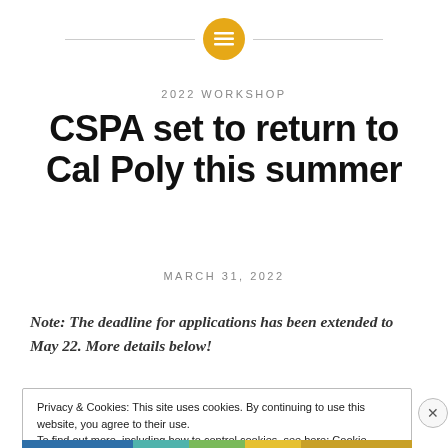[Figure (logo): Golden circle icon with horizontal lines (menu icon) centered between two horizontal rules]
2022 WORKSHOP
CSPA set to return to Cal Poly this summer
MARCH 31, 2022
Note: The deadline for applications has been extended to May 22. More details below!
Privacy & Cookies: This site uses cookies. By continuing to use this website, you agree to their use.
To find out more, including how to control cookies, see here: Cookie Policy
Close and accept